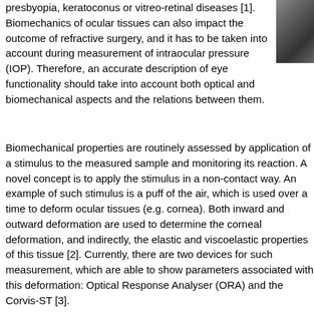presbyopia, keratoconus or vitreo-retinal diseases [1]. Biomechanics of ocular tissues can also impact the outcome of refractive surgery, and it has to be taken into account during measurement of intraocular pressure (IOP). Therefore, an accurate description of eye functionality should take into account both optical and biomechanical aspects and the relations between them.
[Figure (photo): Partial photograph visible in upper right corner, appears to be an eye or face image, partially cropped]
Biomechanical properties are routinely assessed by application of a stimulus to the measured sample and monitoring its reaction. A novel concept is to apply the stimulus in a non-contact way. An example of such stimulus is a puff of the air, which is used over a time to deform ocular tissues (e.g. cornea). Both inward and outward deformation are used to determine the corneal deformation, and indirectly, the elastic and viscoelastic properties of this tissue [2]. Currently, there are two devices for such measurement, which are able to show parameters associated with this deformation: Optical Response Analyser (ORA) and the Corvis-ST [3].